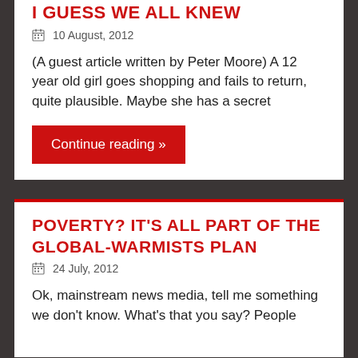I GUESS WE ALL KNEW
10 August, 2012
(A guest article written by Peter Moore) A 12 year old girl goes shopping and fails to return, quite plausible. Maybe she has a secret
Continue reading »
POVERTY? IT'S ALL PART OF THE GLOBAL-WARMISTS PLAN
24 July, 2012
Ok, mainstream news media, tell me something we don't know. What's that you say?  People